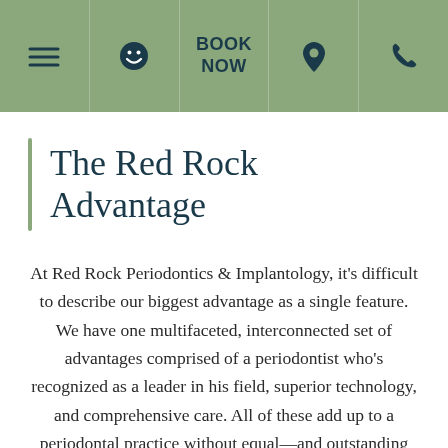Navigation bar with menu, smiley icon, BOOK NOW, location pin, and phone icons
The Red Rock Advantage
At Red Rock Periodontics & Implantology, it's difficult to describe our biggest advantage as a single feature. We have one multifaceted, interconnected set of advantages comprised of a periodontist who's recognized as a leader in his field, superior technology, and comprehensive care. All of these add up to a periodontal practice without equal—and outstanding results for patients the world t